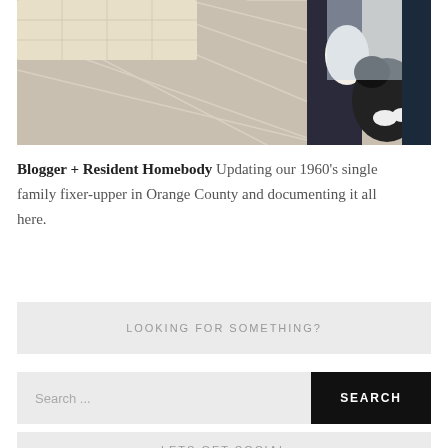[Figure (photo): Photo of a bed with a gray plaid blanket and a black and white dog standing on the right side near a window]
Blogger + Resident Homebody Updating our 1960's single family fixer-upper in Orange County and documenting it all here.
LOOKING FOR SOMETHING?
Search ...
SEARCH
LETS GET SOCIAL